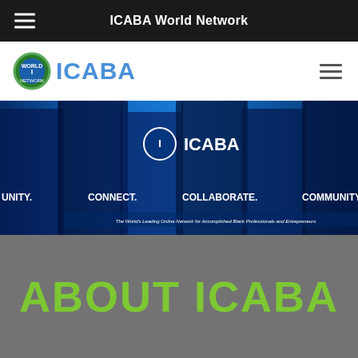ICABA World Network
[Figure (logo): ICABA World Network logo with blue circular globe icon and blue ICABA text]
[Figure (photo): Banner image showing group of Black professionals in suits with blue overlay tint. Text overlay reads: COMMUNITY. CONNECT. COLLABORATE. COMMUNITY. CONNECT. Center logo shows ICABA with circular icon. Subtitle: The World's Leading Online Network for Accomplished Black Professionals and Entrepreneurs]
ABOUT ICABA